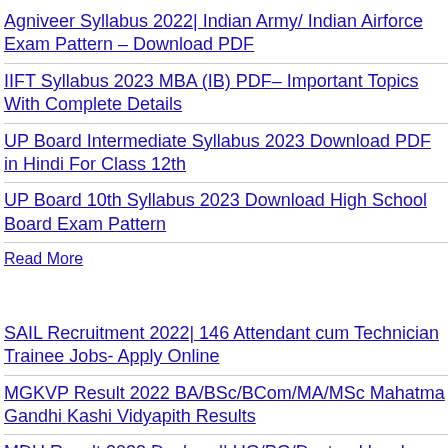Agniveer Syllabus 2022| Indian Army/ Indian Airforce Exam Pattern – Download PDF
IIFT Syllabus 2023 MBA (IB) PDF– Important Topics With Complete Details
UP Board Intermediate Syllabus 2023 Download PDF in Hindi For Class 12th
UP Board 10th Syllabus 2023 Download High School Board Exam Pattern
Read More
SAIL Recruitment 2022| 146 Attendant cum Technician Trainee Jobs- Apply Online
MGKVP Result 2022 BA/BSc/BCom/MA/MSc Mahatma Gandhi Kashi Vidyapith Results
MDU Result 2022 Declared| UG/PG/Doctoral level Courses Exam Results